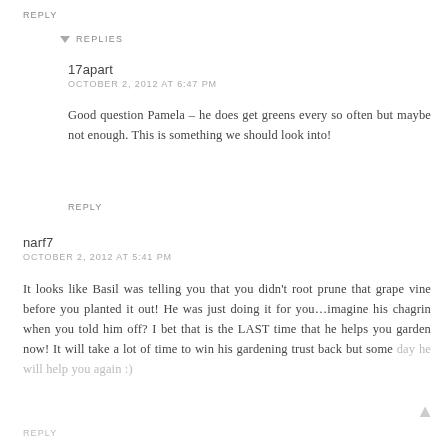REPLY
▼ REPLIES
17apart
OCTOBER 2, 2012 AT 6:47 PM
Good question Pamela – he does get greens every so often but maybe not enough. This is something we should look into!
REPLY
narf7
OCTOBER 2, 2012 AT 5:41 PM
It looks like Basil was telling you that you didn't root prune that grape vine before you planted it out! He was just doing it for you…imagine his chagrin when you told him off? I bet that is the LAST time that he helps you garden now! It will take a lot of time to win his gardening trust back but some day he will help you again :)
REPLY